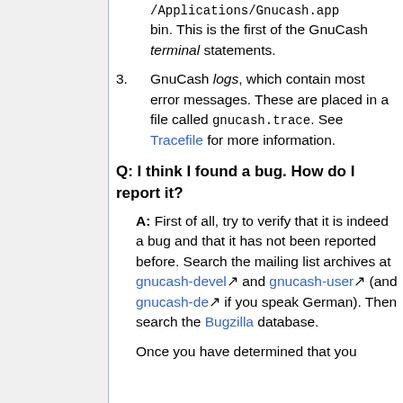/Applications/Gnucash.app/Contents/Resources/bin. This is the first of the GnuCash terminal statements.
3. GnuCash logs, which contain most error messages. These are placed in a file called gnucash.trace. See Tracefile for more information.
Q: I think I found a bug. How do I report it?
A: First of all, try to verify that it is indeed a bug and that it has not been reported before. Search the mailing list archives at gnucash-devel and gnucash-user (and gnucash-de if you speak German). Then search the Bugzilla database.
Once you have determined that you